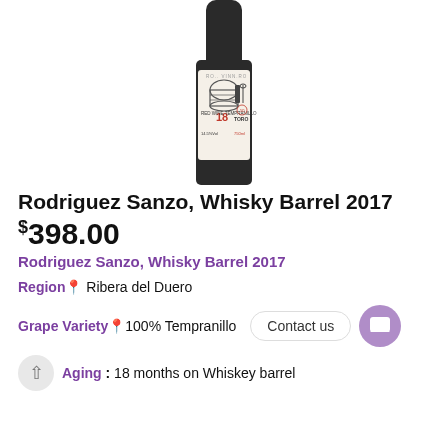[Figure (photo): Wine bottle showing Rodriguez Sanzo Whisky Barrel 2017 label with barrel and wine glass illustration, Red Wine Tempranillo, aged 18 months in whisky barrels, Toro, 14.5% Vol, 750ml]
Rodriguez Sanzo, Whisky Barrel 2017
$398.00
Rodriguez Sanzo, Whisky Barrel 2017
Region: Ribera del Duero
Grape Variety: 100% Tempranillo
Aging : 18 months on Whiskey barrel